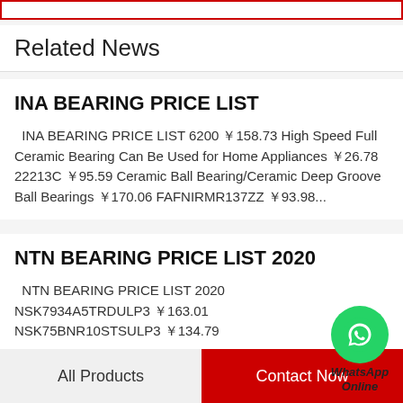Related News
INA BEARING PRICE LIST
INA BEARING PRICE LIST 6200 ￥158.73 High Speed Full Ceramic Bearing Can Be Used for Home Appliances ￥26.78 22213C ￥95.59 Ceramic Ball Bearing/Ceramic Deep Groove Ball Bearings ￥170.06 FAFNIRMR137ZZ ￥93.98...
NTN BEARING PRICE LIST 2020
NTN BEARING PRICE LIST 2020 NSK7934A5TRDULP3 ￥163.01 NSK75BNR10STSULP3 ￥134.79
All Products    Contact Now